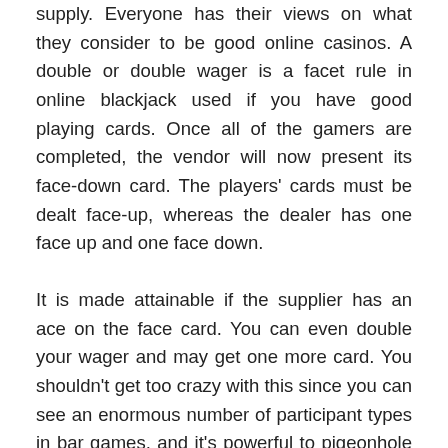supply. Everyone has their views on what they consider to be good online casinos. A double or double wager is a facet rule in online blackjack used if you have good playing cards. Once all of the gamers are completed, the vendor will now present its face-down card. The players' cards must be dealt face-up, whereas the dealer has one face up and one face down.
It is made attainable if the supplier has an ace on the face card. You can even double your wager and may get one more card. You shouldn't get too crazy with this since you can see an enormous number of participant types in bar games, and it's powerful to pigeonhole folks. If the supplier has 21 in his two playing cards, he won't get playing cards anymore, and the participant with blackjack loses the sport. In the sport, you can have the minimal or maximum wager for every table, and every player must play just inside the restrict of the desk. With the introduction of many variants of online casinos, you might have been attracted to try a